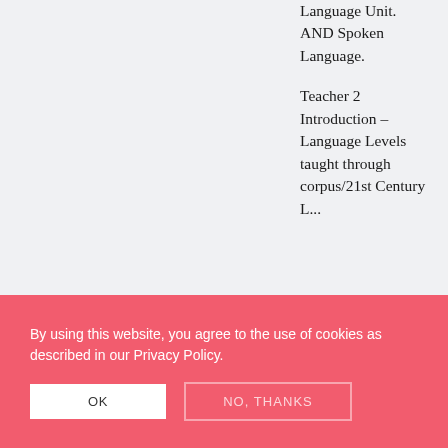Language Unit. AND Spoken Language.
Teacher 2 Introduction – Language Levels taught through corpus/21st Century L...
History of
By using this website, you agree to the use of cookies as described in our Privacy Policy.
OK
NO, THANKS